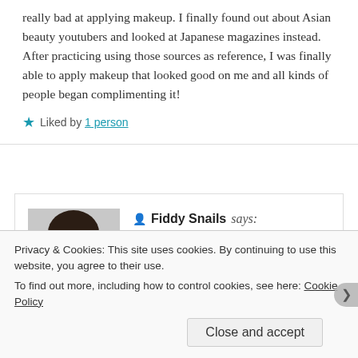really bad at applying makeup. I finally found out about Asian beauty youtubers and looked at Japanese magazines instead. After practicing using those sources as reference, I was finally able to apply makeup that looked good on me and all kinds of people began complimenting it!
★ Liked by 1 person
[Figure (photo): Profile photo of Fiddy Snails, a woman with dark hair posing with hand near face]
Fiddy Snails says: SEPTEMBER 13, 2015 AT 11:03 AM Yes, same here! Actually it took me until this year to realize I should look at makeup tutorials
Privacy & Cookies: This site uses cookies. By continuing to use this website, you agree to their use. To find out more, including how to control cookies, see here: Cookie Policy
Close and accept